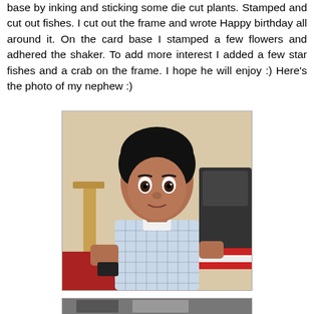base by inking and sticking some die cut plants. Stamped and cut out fishes. I cut out the frame and wrote Happy birthday all around it. On the card base I stamped a few flowers and adhered the shaker. To add more interest I added a few star fishes and a crab on the frame. I hope he will enjoy :) Here's the photo of my nephew :)
[Figure (photo): Photo of a young boy, approximately 2-3 years old, with dark hair, wearing a light blue checkered shirt, holding a small dark object, looking at the camera with wide eyes. Background shows a wooden chair and what appears to be a bag or backpack.]
[Figure (photo): Partial photo visible at the bottom of the page, cropped off.]